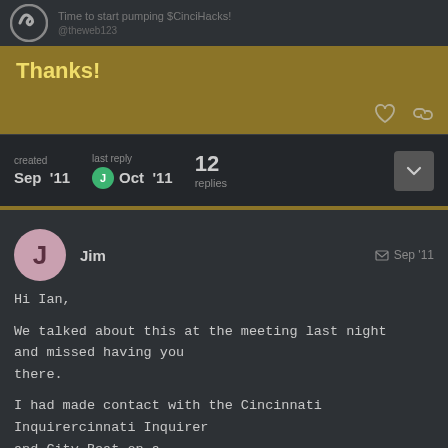Time to start pumping $CinciHacks!
Thanks!
created Sep '11   last reply Oct '11   12 replies
Jim   Sep '11

Hi Ian,

We talked about this at the meeting last night and missed having you there.

I had made contact with the Cincinnati Inquirer and City Beat on a past HIVE activity and will do
1 / 13